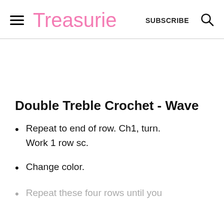Treasurie  SUBSCRIBE
Double Treble Crochet - Wave
Repeat to end of row. Ch1, turn. Work 1 row sc.
Change color.
Repeat these four rows until you